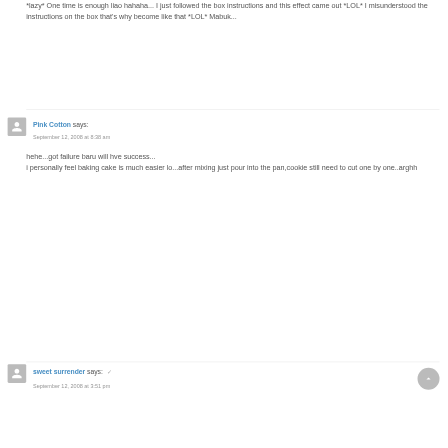*lazy* One time is enough liao hahaha... I just followed the box instructions and this effect came out *LOL* I misunderstood the instructions on the box that's why become like that *LOL* Mabuk...
Pink Cotton says:
September 12, 2008 at 8:38 am
hehe...got failure baru will hve success...
i personally feel baking cake is much easier lo...after mixing just pour into the pan,cookie still need to cut one by one..arghh
sweet surrender says: ✓
September 12, 2008 at 3:51 pm